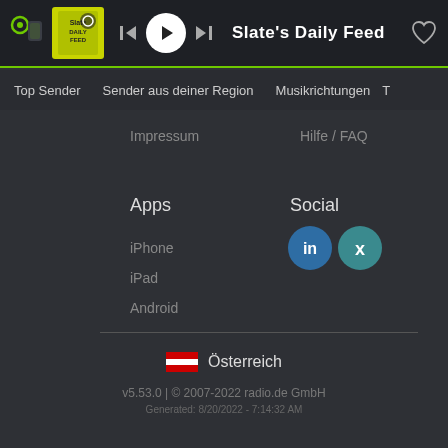[Figure (screenshot): Radio.de app player bar showing Slate's Daily Feed playing, with logo, album art, playback controls, station name, and heart icon]
Top Sender   Sender aus deiner Region   Musikrichtungen   T
Impressum
Hilfe / FAQ
Apps
Social
iPhone
iPad
Android
[Figure (logo): LinkedIn circle icon button]
[Figure (logo): Xing circle icon button]
Österreich
v5.53.0 | © 2007-2022 radio.de GmbH
Generated: 8/20/2022 - 7:14:32 AM